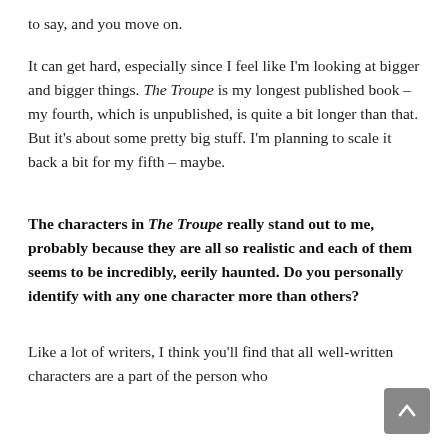to say, and you move on.
It can get hard, especially since I feel like I'm looking at bigger and bigger things. The Troupe is my longest published book – my fourth, which is unpublished, is quite a bit longer than that. But it's about some pretty big stuff. I'm planning to scale it back a bit for my fifth – maybe.
The characters in The Troupe really stand out to me, probably because they are all so realistic and each of them seems to be incredibly, eerily haunted. Do you personally identify with any one character more than others?
Like a lot of writers, I think you'll find that all well-written characters are a part of the person who